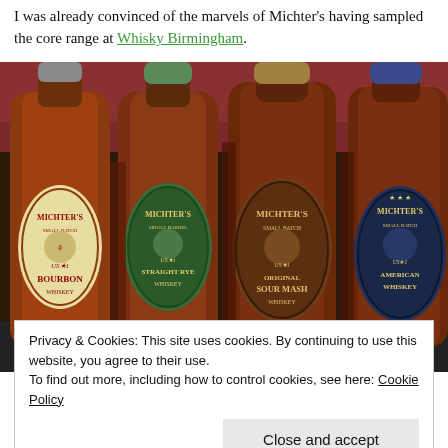I was already convinced of the marvels of Michter's having sampled the core range at Whisky Birmingham.
[Figure (photo): Four bottles of Michter's whiskey lined up: Small Batch Bourbon Whiskey, Single Barrel Straight Rye Whiskey, Small Batch Original Sour Mash Whiskey, and Small Batch American Whiskey. All show the distinctive oval Michter's labels with the US*1 designation.]
Privacy & Cookies: This site uses cookies. By continuing to use this website, you agree to their use.
To find out more, including how to control cookies, see here: Cookie Policy
Close and accept
A brief history of Michter's served as an introduction.